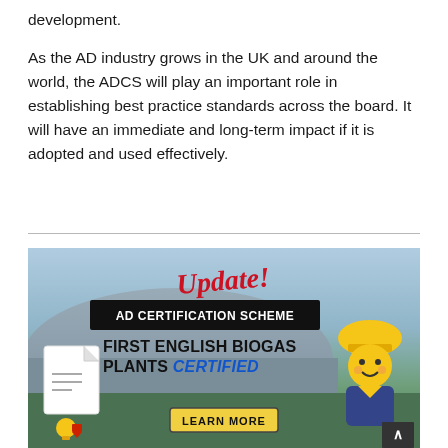development.
As the AD industry grows in the UK and around the world, the ADCS will play an important role in establishing best practice standards across the board. It will have an immediate and long-term impact if it is adopted and used effectively.
[Figure (infographic): AD Certification Scheme promotional banner with text: 'Update! AD Certification Scheme First English Biogas Plants Certified' with a Learn More button, document icon, and worker icon against a biogas plant background.]